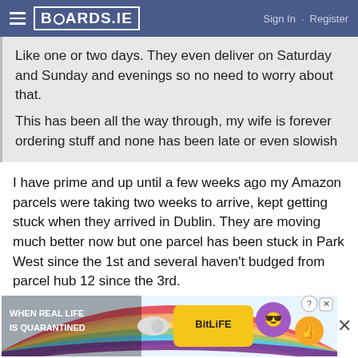BOARDS.IE  Sign In · Register
Like one or two days. They even deliver on Saturday and Sunday and evenings so no need to worry about that.
This has been all the way through, my wife is forever ordering stuff and none has been late or even slowish
I have prime and up until a few weeks ago my Amazon parcels were taking two weeks to arrive, kept getting stuck when they arrived in Dublin. They are moving much better now but one parcel has been stuck in Park West since the 1st and several haven't budged from parcel hub 12 since the 3rd.
[Figure (illustration): BitLife advertisement banner: rainbow background with 'WHEN REAL LIFE IS QUARANTINED' text, BitLife logo, and cartoon character emoji faces]